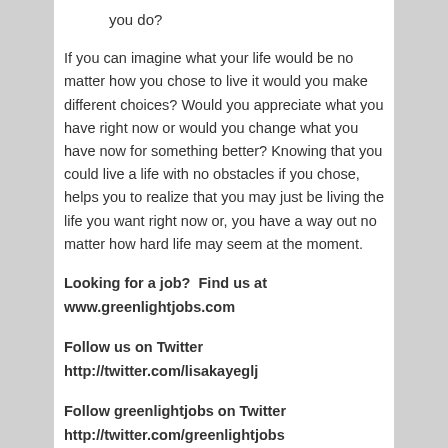you do?
If you can imagine what your life would be no matter how you chose to live it would you make different choices? Would you appreciate what you have right now or would you change what you have now for something better? Knowing that you could live a life with no obstacles if you chose, helps you to realize that you may just be living the life you want right now or, you have a way out no matter how hard life may seem at the moment.
Looking for a job?  Find us at www.greenlightjobs.com
Follow us on Twitter http://twitter.com/lisakayeglj
Follow greenlightjobs on Twitter http://twitter.com/greenlightjobs
And, on LinkedIn http://www.linkedin.com/pub/2/abb/50